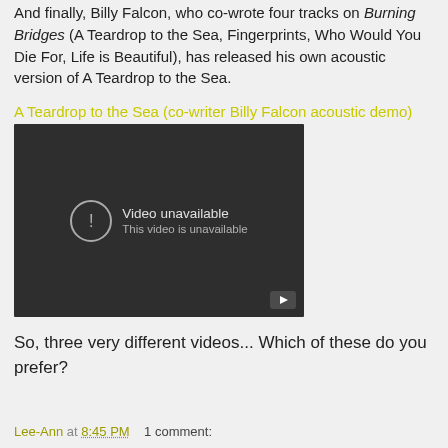And finally, Billy Falcon, who co-wrote four tracks on Burning Bridges (A Teardrop to the Sea, Fingerprints, Who Would You Die For, Life is Beautiful), has released his own acoustic version of A Teardrop to the Sea.
A Teardrop to the Sea (co-writer Billy Falcon acoustic demo)
[Figure (screenshot): Embedded YouTube video player showing 'Video unavailable – This video is unavailable' message with a circle exclamation icon and a play button in the bottom right corner. Background is dark gray.]
So, three very different videos... Which of these do you prefer?
Lee-Ann at 8:45 PM    1 comment: